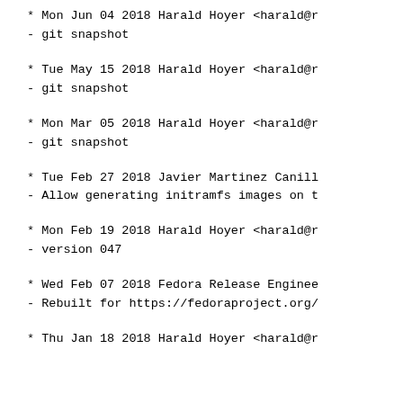* Mon Jun 04 2018 Harald Hoyer <harald@r
- git snapshot
* Tue May 15 2018 Harald Hoyer <harald@r
- git snapshot
* Mon Mar 05 2018 Harald Hoyer <harald@r
- git snapshot
* Tue Feb 27 2018 Javier Martinez Canill
- Allow generating initramfs images on t
* Mon Feb 19 2018 Harald Hoyer <harald@r
- version 047
* Wed Feb 07 2018 Fedora Release Enginee
- Rebuilt for https://fedoraproject.org/
* Thu Jan 18 2018 Harald Hoyer <harald@r